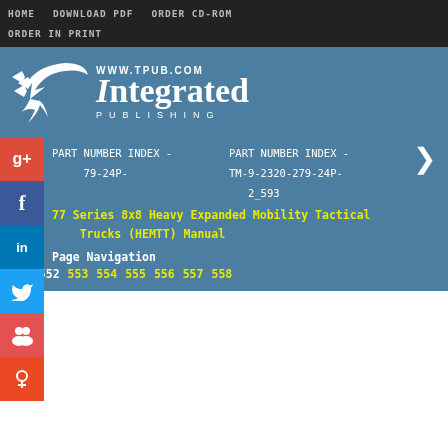HOME   DOWNLOAD PDF   ORDER CD-ROM   ORDER IN PRINT
[Figure (logo): Integrated Publishing logo with bird/arrow design and www.tpub.com URL]
PART NUMBER INDEX - TM-9-2320-279-24P-2_593
77 Series 8x8 Heavy Expanded Mobility Tactical Trucks (HEMTT) Manual
Page Navigation
551  552  553  554  555  556  557  558